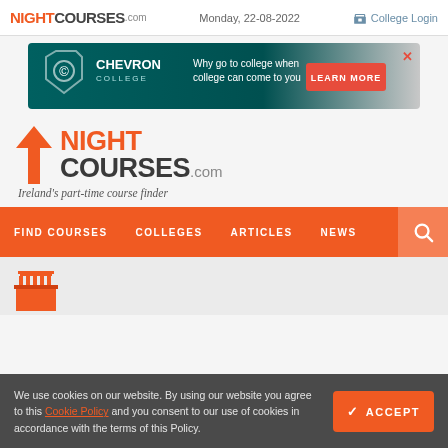NIGHTCOURSES.com  Monday, 22-08-2022  College Login
[Figure (infographic): Chevron College advertisement banner: 'Why go to college when college can come to you' with LEARN MORE button]
NIGHTCOURSES.com - Ireland's part-time course finder
FIND COURSES  COLLEGES  ARTICLES  NEWS
We use cookies on our website. By using our website you agree to this Cookie Policy and you consent to our use of cookies in accordance with the terms of this Policy.